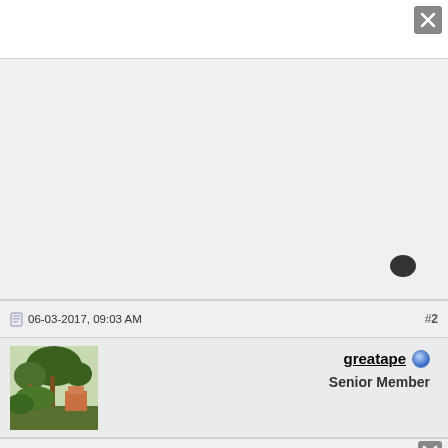[Figure (screenshot): Close button (X) in gray square at top right corner of post area]
[Figure (screenshot): Light gray content/post area with a chat bubble icon at the bottom right]
06-03-2017, 09:03 AM
#2
[Figure (photo): User avatar showing a tropical garden or palm tree scene]
greatape
Senior Member
[Figure (screenshot): Close button (X) in gray square at bottom right corner of next post area]